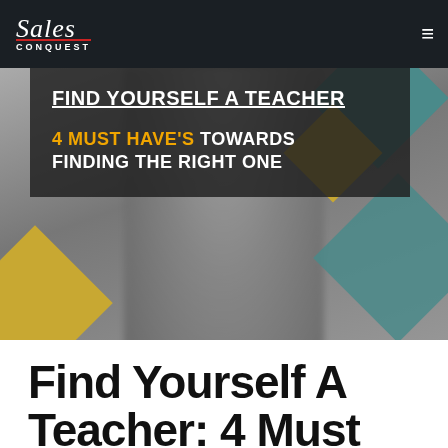Sales Conquest
[Figure (photo): Hero image with blurred person in black outfit, decorative diamond/circle shapes in gold and teal colors overlaid on grayscale background. Dark overlay banner with text: FIND YOURSELF A TEACHER / 4 MUST HAVE'S TOWARDS FINDING THE RIGHT ONE]
Find Yourself A Teacher: 4 Must